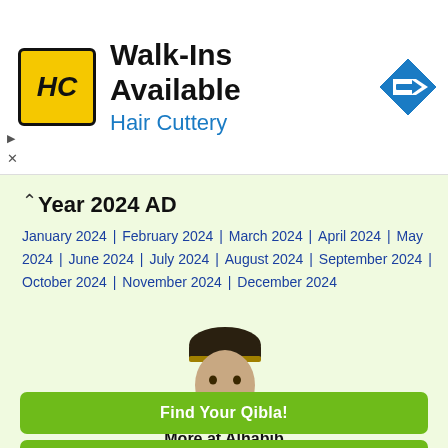[Figure (infographic): Hair Cuttery advertisement banner with HC logo, text 'Walk-Ins Available Hair Cuttery', and a blue direction sign icon]
Year 2024 AD
January 2024 | February 2024 | March 2024 | April 2024 | May 2024 | June 2024 | July 2024 | August 2024 | September 2024 | October 2024 | November 2024 | December 2024
[Figure (photo): Photo of a man wearing a traditional Muslim cap (taqiyah/peci) with a goatee beard]
More at Alhabib
Find Your Qibla!
Islamic Greeting Cards